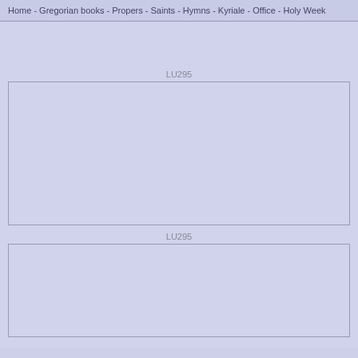Home - Gregorian books - Propers - Saints - Hymns - Kyriale - Office - Holy Week
LU295
[Figure (other): Empty light blue/purple rectangular image placeholder box]
LU295
[Figure (other): Empty light blue/purple rectangular image placeholder box]